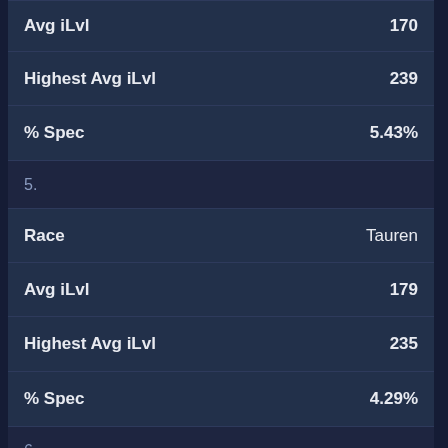| Field | Value |
| --- | --- |
| Avg iLvl | 170 |
| Highest Avg iLvl | 239 |
| % Spec | 5.43% |
| 5. |  |
| Race | Tauren |
| Avg iLvl | 179 |
| Highest Avg iLvl | 235 |
| % Spec | 4.29% |
| 6. |  |
| Race | Zandalari Troll |
| Avg iLvl | 173 |
| Highest Avg iLvl | 225 |